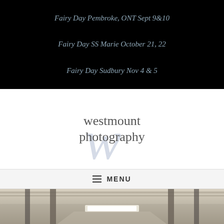Fairy Day Pembroke, ONT Sept 9&10
Fairy Day SS Marie October 21, 22
Fairy Day Sudbury Nov 4 & 5
[Figure (logo): Westmount Photography logo with stylized W watermark behind text reading 'westmount photography']
MENU
[Figure (photo): Black and white photograph of a hallway/corridor with ceiling lights and pipes visible]